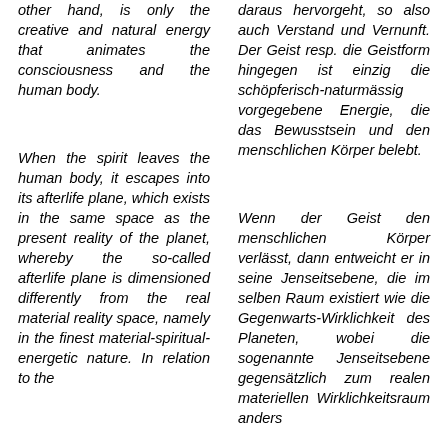other hand, is only the creative and natural energy that animates the consciousness and the human body.
When the spirit leaves the human body, it escapes into its afterlife plane, which exists in the same space as the present reality of the planet, whereby the so-called afterlife plane is dimensioned differently from the real material reality space, namely in the finest material-spiritual-energetic nature. In relation to the
daraus hervorgeht, so also auch Verstand und Vernunft. Der Geist resp. die Geistform hingegen ist einzig die schöpferisch-naturmässig vorgegebene Energie, die das Bewusstsein und den menschlichen Körper belebt.
Wenn der Geist den menschlichen Körper verlässt, dann entweicht er in seine Jenseitsebene, die im selben Raum existiert wie die Gegenwarts-Wirklichkeit des Planeten, wobei die sogenannte Jenseitsebene gegensätzlich zum realen materiellen Wirklichkeitsraum anders